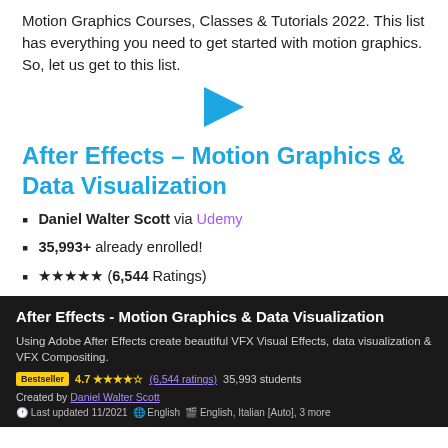Motion Graphics Courses, Classes & Tutorials 2022. This list has everything you need to get started with motion graphics. So, let us get to this list.
[Figure (illustration): Blue right-pointing chevron/arrow icon]
After Effects – Motion Graphics & Data Visualization
Daniel Walter Scott via Udemy
35,993+ already enrolled!
★★★★★ (6,544 Ratings)
[Figure (screenshot): Udemy course card on dark background showing 'After Effects - Motion Graphics & Data Visualization' by Daniel Walter Scott. Bestseller badge, 4.7 rating, 6,544 ratings, 35,993 students, last updated 11/2021, English.]